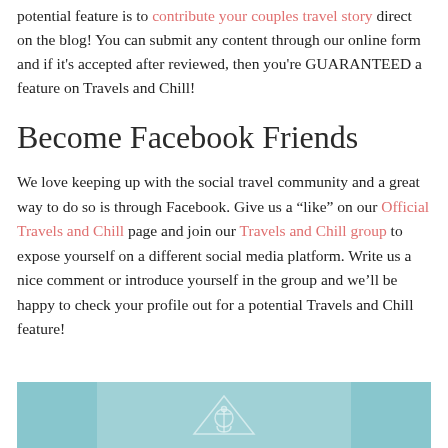potential feature is to contribute your couples travel story direct on the blog! You can submit any content through our online form and if it's accepted after reviewed, then you're GUARANTEED a feature on Travels and Chill!
Become Facebook Friends
We love keeping up with the social travel community and a great way to do so is through Facebook. Give us a “like” on our Official Travels and Chill page and join our Travels and Chill group to expose yourself on a different social media platform. Write us a nice comment or introduce yourself in the group and we’ll be happy to check your profile out for a potential Travels and Chill feature!
[Figure (photo): A teal/aqua colored ocean or sea image with a geometric anchor/triangle logo symbol in the center]